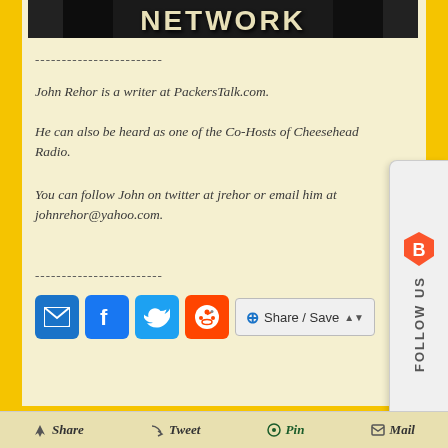[Figure (illustration): NETWORK logo banner image in dark background]
------------------------
John Rehor is a writer at PackersTalk.com.
He can also be heard as one of the Co-Hosts of Cheesehead Radio.
You can follow John on twitter at jrehor or email him at johnrehor@yahoo.com.
------------------------
[Figure (infographic): Social share icons: email, facebook, twitter, reddit, and Share/Save button]
Share   Tweet   Pin   Mail